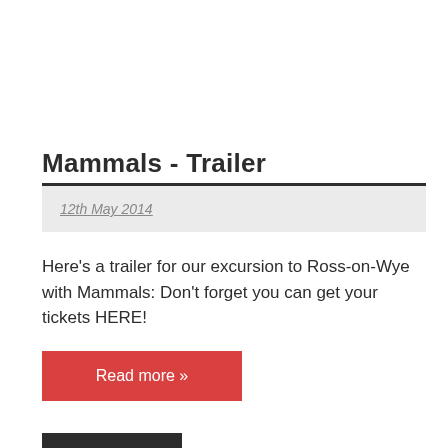Mammals - Trailer
12th May 2014
Here's a trailer for our excursion to Ross-on-Wye with Mammals: Don't forget you can get your tickets HERE!
Read more »
News